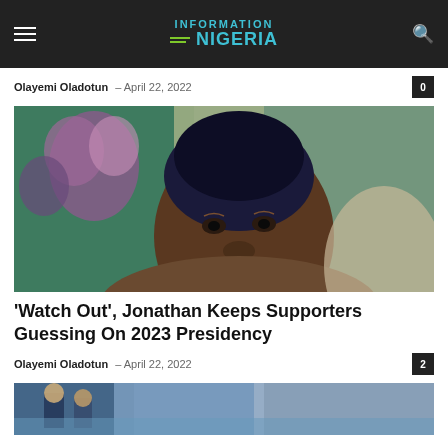INFORMATION NIGERIA
Olayemi Oladotun – April 22, 2022
[Figure (photo): Portrait photo of Goodluck Jonathan wearing a dark traditional cap, hand raised to chin in a thoughtful pose, colorful background]
'Watch Out', Jonathan Keeps Supporters Guessing On 2023 Presidency
Olayemi Oladotun – April 22, 2022
[Figure (photo): Partial photo visible at the bottom of the page]